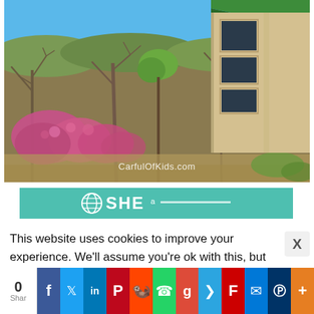[Figure (photo): Outdoor nature photo showing a stone building with a green roof in the upper right, surrounded by bare trees, pink flowering bushes (redbud), and green scrubby vegetation under a clear blue sky. Watermark reads 'CarfulOfKids.com']
[Figure (logo): SHEa logo on teal/green banner background]
This website uses cookies to improve your experience. We'll assume you're ok with this, but you can opt-out if you wis
[Figure (infographic): Social sharing bar at the bottom with share count 0, and buttons for Facebook, Twitter, LinkedIn, Pinterest, Reddit, WhatsApp, Google, Telegram, Flipboard, Messenger, Mix, and more (+)]